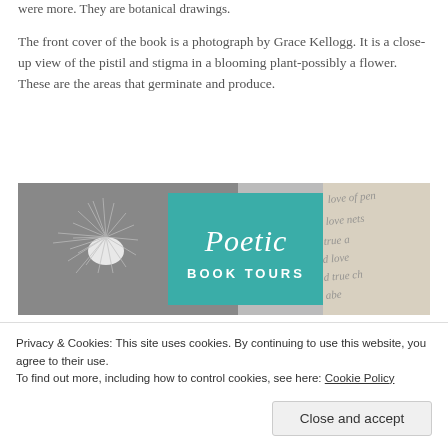were more. They are botanical drawings.
The front cover of the book is a photograph by Grace Kellogg. It is a close-up view of the pistil and stigma in a blooming plant-possibly a flower. These are the areas that germinate and produce.
[Figure (logo): Poetic Book Tours logo banner with a dandelion on the left, a teal/green square in the center with cursive text reading 'Poetic BOOK TOURS', and handwritten script text on the right]
Privacy & Cookies: This site uses cookies. By continuing to use this website, you agree to their use.
To find out more, including how to control cookies, see here: Cookie Policy
Close and accept